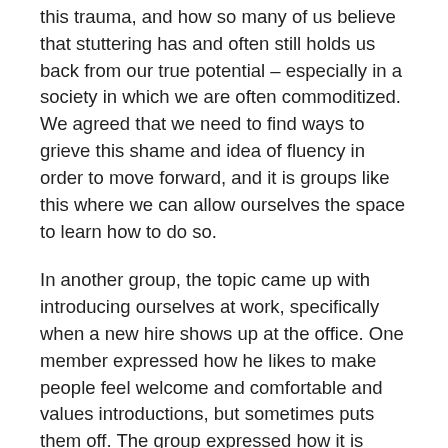this trauma, and how so many of us believe that stuttering has and often still holds us back from our true potential – especially in a society in which we are often commoditized. We agreed that we need to find ways to grieve this shame and idea of fluency in order to move forward, and it is groups like this where we can allow ourselves the space to learn how to do so.
In another group, the topic came up with introducing ourselves at work, specifically when a new hire shows up at the office. One member expressed how he likes to make people feel welcome and comfortable and values introductions, but sometimes puts them off. The group expressed how it is important to keep a few things in mind when processing this sort of behavior. Being too hard on yourself, like if you do not always go up to someone to introduce yourself and then feel bad about it, probably will